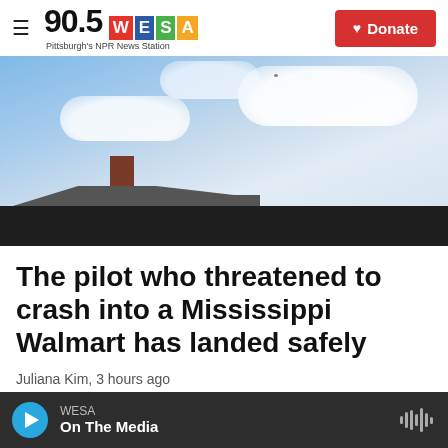90.5 WESA Pittsburgh's NPR News Station | Donate
[Figure (photo): Outdoor photo showing a building roofline against a cloudy blue sky]
The pilot who threatened to crash into a Mississippi Walmart has landed safely
Juliana Kim,  3 hours ago
WESA  On The Media